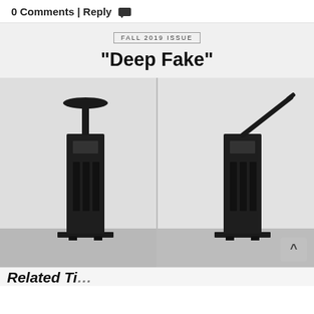0 Comments | Reply
FALL 2019 ISSUE
"Deep Fake"
[Figure (photo): Two side-by-side photographs of a black mechanical/industrial device that resembles a tall narrow box with vertical rails. The left photo shows the device with a circular disk on top. The right photo shows the same device with a long diagonal arm/lever extending from the top. Both are photographed against a white wall with a grey floor.]
Related Ti...